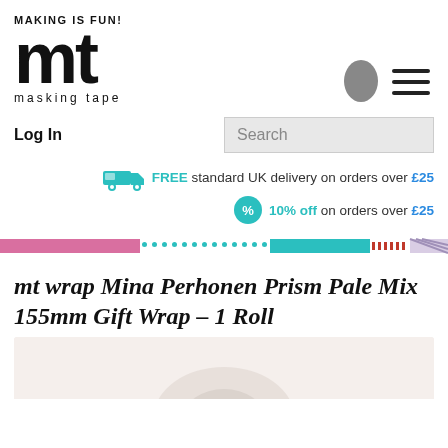MAKING IS FUN!
[Figure (logo): mt masking tape brand logo with large stylized 'mt' lettering and 'masking tape' text below]
Log In
Search
FREE standard UK delivery on orders over £25
10% off on orders over £25
[Figure (illustration): Decorative tape strip banner with pink, teal dotted, teal solid, red dotted, and lilac stripe sections]
mt wrap Mina Perhonen Prism Pale Mix 155mm Gift Wrap - 1 Roll
[Figure (photo): Product image partially visible showing mt wrap gift wrap roll on light background]